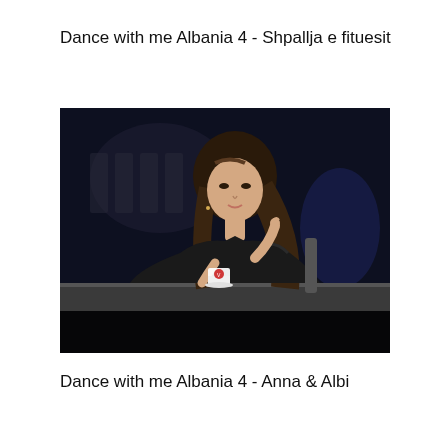Dance with me Albania 4 - Shpallja e fituesit
[Figure (photo): A woman in a dark off-shoulder lace dress sits at a judges table on a TV dance competition set. She has long brown hair and is gesturing with her right hand. A coffee cup sits on the table in front of her. The background is dark blue/black stage lighting with blurred text or logos visible.]
Dance with me Albania 4 - Anna & Albi